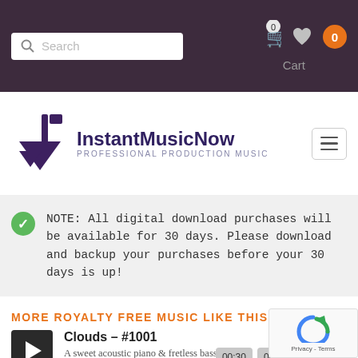[Figure (screenshot): Top navigation bar with dark purple background, search box on left, cart/heart/badge icons on right with Cart label]
[Figure (logo): InstantMusicNow logo with music note icon, purple text 'InstantMusicNow' and subtitle 'PROFESSIONAL PRODUCTION MUSIC', hamburger menu icon on right]
NOTE: All digital download purchases will be available for 30 days. Please download and backup your purchases before your 30 days is up!
MORE ROYALTY FREE MUSIC LIKE THIS
[Figure (other): Dark play button square]
Clouds – #1001
A sweet acoustic piano & fretless bass duet.
00:30  00:60  03:35